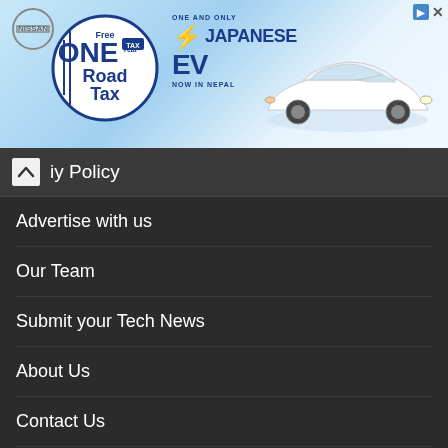[Figure (illustration): Nissan advertisement banner featuring 'Free ONE Year Road Tax' circular badge, Japanese EV text with lightning bolt icon, and white Nissan Leaf electric car on blue gradient background]
iy Policy
Advertise with us
Our Team
Submit your Tech News
About Us
Contact Us
Cyber Security Awareness Training
About ICT Frame
ICT Frame is an online magazine for the community belonging to information and communication technology which also provides two versions of the magazine based on native and international language. ICT Frame serves the need of today's world which is